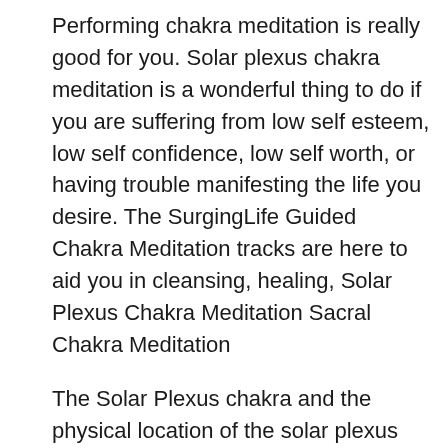Performing chakra meditation is really good for you. Solar plexus chakra meditation is a wonderful thing to do if you are suffering from low self esteem, low self confidence, low self worth, or having trouble manifesting the life you desire. The SurgingLife Guided Chakra Meditation tracks are here to aid you in cleansing, healing, Solar Plexus Chakra Meditation Sacral Chakra Meditation
The Solar Plexus chakra and the physical location of the solar plexus can be found about 2 inches above your belly button. It is important to note thought that the energy center is inside your body radiating out and not located on the surface. Picture these region as a yellow light